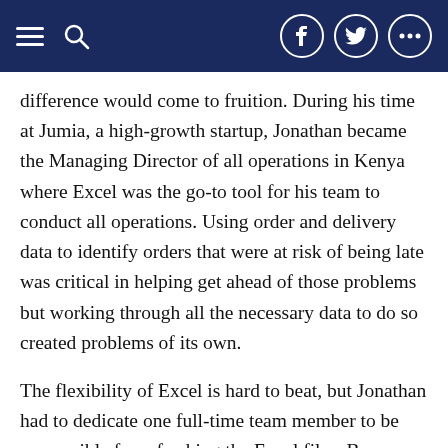Navigation bar with hamburger menu, search icon, Facebook, Twitter, and more options icons
difference would come to fruition. During his time at Jumia, a high-growth startup, Jonathan became the Managing Director of all operations in Kenya where Excel was the go-to tool for his team to conduct all operations. Using order and delivery data to identify orders that were at risk of being late was critical in helping get ahead of those problems but working through all the necessary data to do so created problems of its own.
The flexibility of Excel is hard to beat, but Jonathan had to dedicate one full-time team member to be responsible for refreshing the Excel files. Because of the amount of data and the complexity of the formulas within the file, precious time was lost in keeping these files up to date.